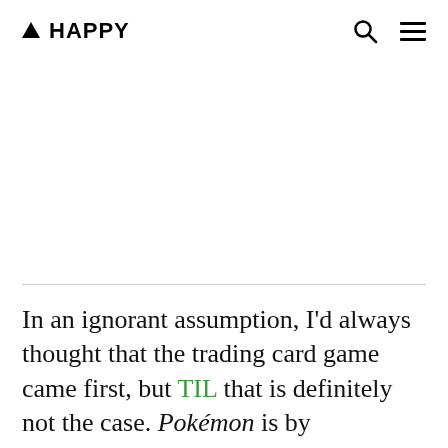▲ HAPPY
In an ignorant assumption, I'd always thought that the trading card game came first, but TIL that is definitely not the case. Pokémon is by